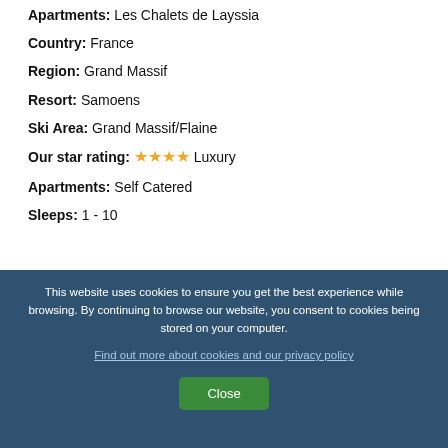Apartments: Les Chalets de Layssia
Country: France
Region: Grand Massif
Resort: Samoens
Ski Area: Grand Massif/Flaine
Our star rating: ★★★★ Luxury
Apartments: Self Catered
Sleeps: 1 - 10
This website uses cookies to ensure you get the best experience while browsing. By continuing to browse our website, you consent to cookies being stored on your computer.
Find out more about cookies and our privacy policy
Close